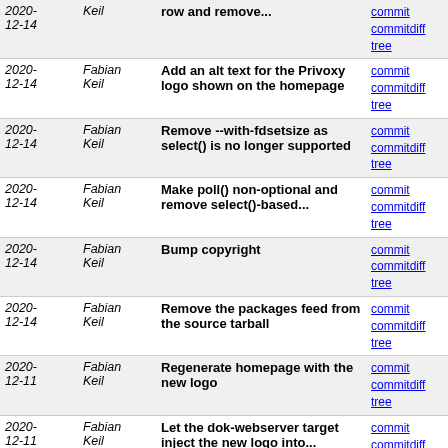| Date | Author | Message | Links |
| --- | --- | --- | --- |
| 2020-12-14 | Fabian Keil | row and remove... | commit | commitdiff | tree |
| 2020-12-14 | Fabian Keil | Add an alt text for the Privoxy logo shown on the homepage | commit | commitdiff | tree |
| 2020-12-14 | Fabian Keil | Remove --with-fdsetsize as select() is no longer supported | commit | commitdiff | tree |
| 2020-12-14 | Fabian Keil | Make poll() non-optional and remove select()-based... | commit | commitdiff | tree |
| 2020-12-14 | Fabian Keil | Bump copyright | commit | commitdiff | tree |
| 2020-12-14 | Fabian Keil | Remove the packages feed from the source tarball | commit | commitdiff | tree |
| 2020-12-11 | Fabian Keil | Regenerate homepage with the new logo | commit | commitdiff | tree |
| 2020-12-11 | Fabian Keil | Let the dok-webserver target inject the new logo into... | commit | commitdiff | tree |
| 2020-12-11 | Fabian Keil | Import a Privoxy logo for the website | commit | commitdiff | tree |
| 2020-12-11 | Fabian Keil | Add 168: Add a privacy policy | commit | commitdiff | tree |
| 2020-12-11 | Fabian Keil | Add #167: Set up a public Privoxy-Filter-Test instance. | commit | commitdiff | tree |
| 2020-12-11 | Fabian Keil | Remove #141 as CloudABI is unmaintained | commit | commitdiff | tree |
| 2020-12-11 | Fabian Keil | Disable fast-redirects for .fsf.org/ | commit | commitdiff | tree |
| 2020-12-11 | Fabian Keil | Regenerate docs | commit | commitdiff | tree |